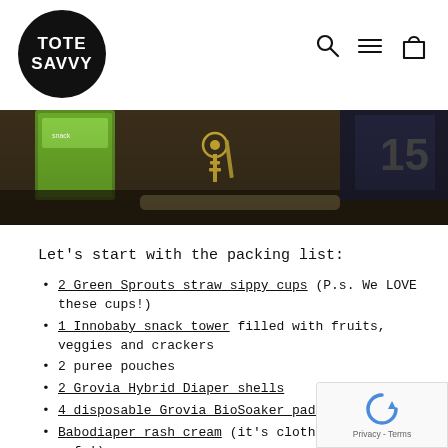TOTE SAVVY
[Figure (photo): A cropped photo showing items on a dark surface including what appears to be a snack package on the left, keys in the middle, and a partially visible item on the right.]
Let's start with the packing list:
2 Green Sprouts straw sippy cups (P.s. We LOVE these cups!)
1 Innobaby snack tower filled with fruits, veggies and crackers
2 puree pouches
2 Grovia Hybrid Diaper shells
4 disposable Grovia BioSoaker pads
Babodiaper rash cream (it's cloth diaper safe!)